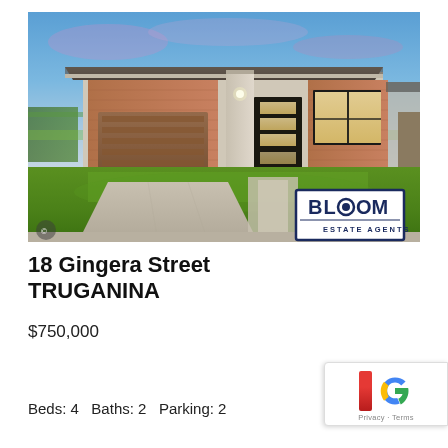[Figure (photo): Exterior photo of a modern single-storey brick home at dusk with green lawn, garage, and Bloom Estate Agents watermark logo in bottom right corner]
18 Gingera Street TRUGANINA
$750,000
Beds: 4   Baths: 2   Parking: 2